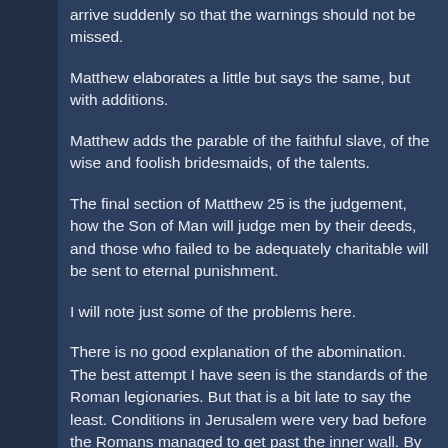arrive suddenly so that the warnings should not be missed.
Matthew elaborates a little but says the same, but with additions.
Matthew adds the parable of the faithful slave, of the wise and foolish bridesmaids, of the talents.
The final section of Matthew 25 is the judgement, how the Son of Man will judge men by their deeds, and those who failed to be adequately charitable will be sent to eternal punishment.
I will note just some of the problems here.
There is no good explanation of the abomination. The best attempt I have seen is the standards of the Roman legionaries. But that is a bit late to say the least. Conditions in Jerusalem were very bad before the Romans managed to get past the inner wall. By the time they took the Temple